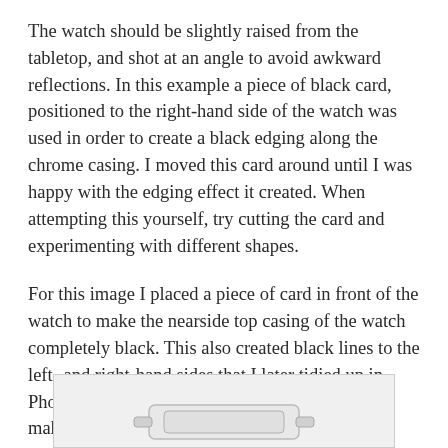The watch should be slightly raised from the tabletop, and shot at an angle to avoid awkward reflections. In this example a piece of black card, positioned to the right-hand side of the watch was used in order to create a black edging along the chrome casing. I moved this card around until I was happy with the edging effect it created. When attempting this yourself, try cutting the card and experimenting with different shapes.
For this image I placed a piece of card in front of the watch to make the nearside top casing of the watch completely black. This also created black lines to the left- and right-hand sides that I later tidied up in Photoshop. The Dodge tool in PS can be used to make the background pure white.
[Figure (photo): Partial view of a watch photograph against a light background, showing the top portion of the watch casing.]